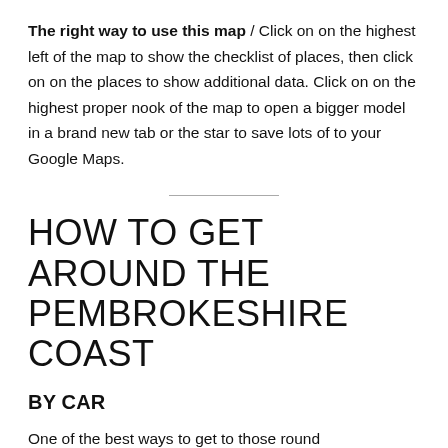The right way to use this map / Click on on the highest left of the map to show the checklist of places, then click on on the places to show additional data. Click on on the highest proper nook of the map to open a bigger model in a brand new tab or the star to save lots of to your Google Maps.
HOW TO GET AROUND THE PEMBROKESHIRE COAST
BY CAR
One of the best ways to get to those round Pembrokeshire Coast walks is to drive. It's a most of simply over a 1-hour drive between any of them and it's the right inclusion on a